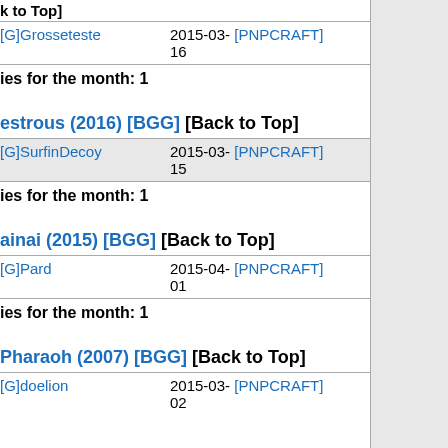[Back to Top]
| User | Date | Tag |
| --- | --- | --- |
| [G]Grosseteste | 2015-03-16 | [PNPCRAFT] |
ies for the month: 1
estrous (2016) [BGG] [Back to Top]
| User | Date | Tag |
| --- | --- | --- |
| [G]SurfinDecoy | 2015-03-15 | [PNPCRAFT] |
ies for the month: 1
ainai (2015) [BGG] [Back to Top]
| User | Date | Tag |
| --- | --- | --- |
| [G]Pard | 2015-04-01 | [PNPCRAFT] |
ies for the month: 1
Pharaoh (2007) [BGG] [Back to Top]
| User | Date | Tag |
| --- | --- | --- |
| [G]doelion | 2015-03-02 | [PNPCRAFT] |